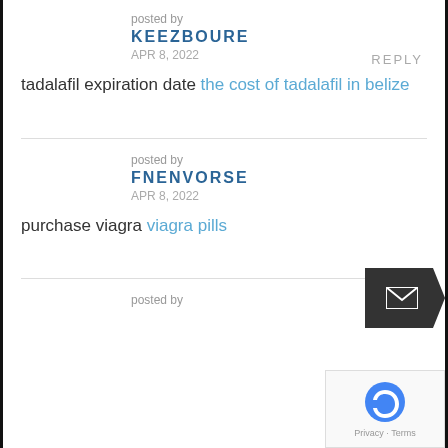posted by
KEEZBOURE
APR 8, 2022
REPLY
tadalafil expiration date the cost of tadalafil in belize
posted by
FNENVORSE
APR 8, 2022
REPLY
purchase viagra viagra pills
posted by
REPLY